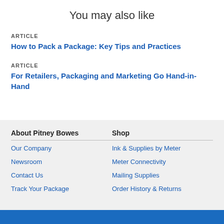You may also like
ARTICLE
How to Pack a Package: Key Tips and Practices
ARTICLE
For Retailers, Packaging and Marketing Go Hand-in-Hand
About Pitney Bowes | Our Company | Newsroom | Contact Us | Track Your Package | Shop | Ink & Supplies by Meter | Meter Connectivity | Mailing Supplies | Order History & Returns